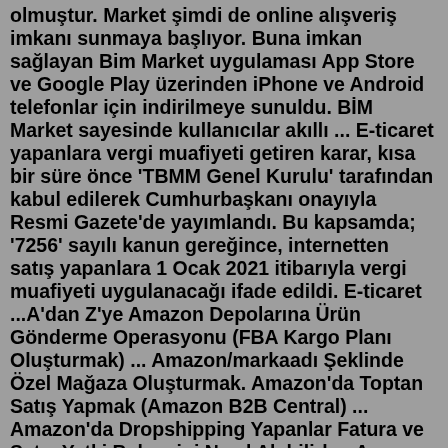olmuştur. Market şimdi de online alışveriş imkanı sunmaya başlıyor. Buna imkan sağlayan Bim Market uygulaması App Store ve Google Play üzerinden iPhone ve Android telefonlar için indirilmeye sunuldu. BİM Market sayesinde kullanıcılar akıllı ... E-ticaret yapanlara vergi muafiyeti getiren karar, kısa bir süre önce 'TBMM Genel Kurulu' tarafından kabul edilerek Cumhurbaşkanı onayıyla Resmi Gazete'de yayımlandı. Bu kapsamda; '7256' sayılı kanun gereğince, internetten satış yapanlara 1 Ocak 2021 itibarıyla vergi muafiyeti uygulanacağı ifade edildi. E-ticaret ...A'dan Z'ye Amazon Depolarına Ürün Gönderme Operasyonu (FBA Kargo Planı Oluşturmak) ... Amazon/markaadı Şeklinde Özel Mağaza Oluşturmak. Amazon'da Toptan Satış Yapmak (Amazon B2B Central) ... Amazon'da Dropshipping Yapanlar Fatura ve Satış Yetki Belgesini Nasıl Alabilirler. Amazon Dropshipping Yazılım İncelemesi ...Adamlar zaten siz siparişi onaylamadan önce teslimat tarihini veriyolar üstelik